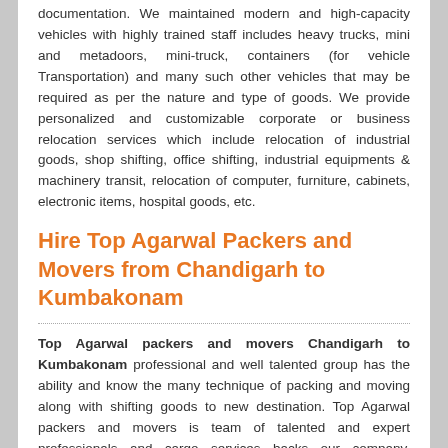documentation. We maintained modern and high-capacity vehicles with highly trained staff includes heavy trucks, mini and metadoors, mini-truck, containers (for vehicle Transportation) and many such other vehicles that may be required as per the nature and type of goods. We provide personalized and customizable corporate or business relocation services which include relocation of industrial goods, shop shifting, office shifting, industrial equipments & machinery transit, relocation of computer, furniture, cabinets, electronic items, hospital goods, etc.
Hire Top Agarwal Packers and Movers from Chandigarh to Kumbakonam
Top Agarwal packers and movers Chandigarh to Kumbakonam professional and well talented group has the ability and know the many technique of packing and moving along with shifting goods to new destination. Top Agarwal packers and movers is team of talented and expert professionals and cargo services backs our company, ensuring on time and safe delivery of goods anywhere in India. We can move your office inside Chandigarh or to any city in India. Our group comprises of in excess of 30 workers, who are energetic about giving you the best-in-class packing and moving services. Top Agarwal packers and movers Companies in India are built with the sole objective to help link their customers offering proper management of all the essential materials and goods between two destinations. We